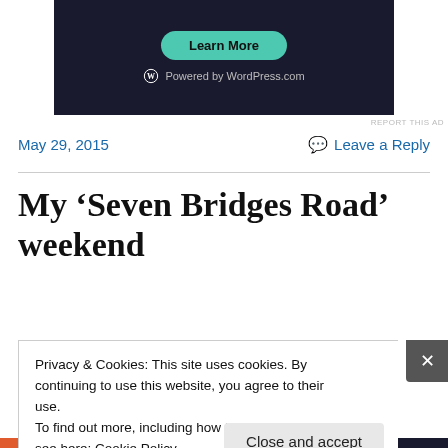[Figure (screenshot): Dark banner ad with 'Learn More' teal button and 'Powered by WordPress.com' text]
REPORT THIS AD
May 29, 2015
Leave a Reply
My ‘Seven Bridges Road’ weekend
Privacy & Cookies: This site uses cookies. By continuing to use this website, you agree to their use.
To find out more, including how to control cookies, see here: Cookie Policy
Close and accept